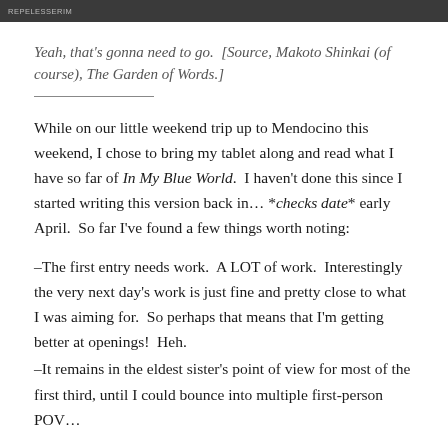REPELESSERIM
Yeah, that's gonna need to go.  [Source, Makoto Shinkai (of course), The Garden of Words.]
While on our little weekend trip up to Mendocino this weekend, I chose to bring my tablet along and read what I have so far of In My Blue World.  I haven't done this since I started writing this version back in… *checks date* early April.  So far I've found a few things worth noting:
–The first entry needs work.  A LOT of work.  Interestingly the very next day's work is just fine and pretty close to what I was aiming for.  So perhaps that means that I'm getting better at openings!  Heh.
–It remains in the eldest sister's point of view for most of the first third, until I could bounce into multiple first-person POV…